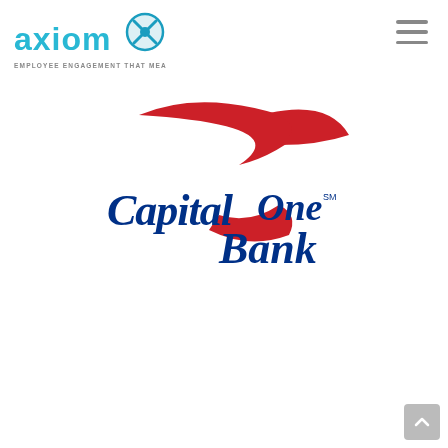[Figure (logo): Axiom logo with teal/cyan wordmark 'axiom' and stylized blue X icon, tagline 'EMPLOYEE ENGAGEMENT THAT MEANS BUSINESS']
[Figure (logo): Capital One Bank logo with red swoosh/arrow graphic above the blue 'CapitalOne Bank' wordmark with SM trademark symbol]